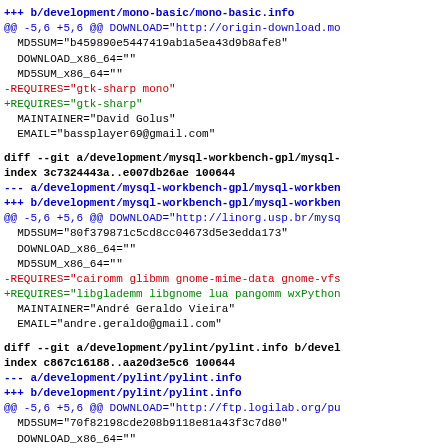+++ b/development/mono-basic/mono-basic.info
@@ -5,6 +5,6 @@ DOWNLOAD="http://origin-download.mo
  MD5SUM="b459890e5447419ab1a5ea43d9b8afe8"
  DOWNLOAD_x86_64=""
  MD5SUM_x86_64=""
-REQUIRES="gtk-sharp mono"
+REQUIRES="gtk-sharp"
  MAINTAINER="David Golus"
  EMAIL="bassplayer69@gmail.com"
diff --git a/development/mysql-workbench-gpl/mysql-
index 3c7324443a..e007db26ae 100644
--- a/development/mysql-workbench-gpl/mysql-workben
+++ b/development/mysql-workbench-gpl/mysql-workben
@@ -5,6 +5,6 @@ DOWNLOAD="http://linorg.usp.br/mysq
  MD5SUM="80f379871c5cd8cc04673d5e3edda173"
  DOWNLOAD_x86_64=""
  MD5SUM_x86_64=""
-REQUIRES="cairomm glibmm gnome-mime-data gnome-vfs
+REQUIRES="libglademm libgnome lua pangomm wxPython
  MAINTAINER="André Geraldo Vieira"
  EMAIL="andre.geraldo@gmail.com"
diff --git a/development/pylint/pylint.info b/devel
index c867c16188..aa20d3e5c6 100644
--- a/development/pylint/pylint.info
+++ b/development/pylint/pylint.info
@@ -5,6 +5,6 @@ DOWNLOAD="http://ftp.logilab.org/pu
  MD5SUM="70f82198cde208b9118e81a43f3c7d80"
  DOWNLOAD_x86_64=""